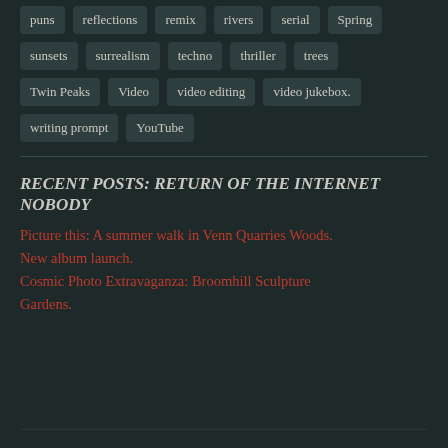puns
reflections
remix
rivers
serial
Spring
sunsets
surrealism
techno
thriller
trees
Twin Peaks
Video
video editing
video jukebox.
writing prompt
YouTube
RECENT POSTS: RETURN OF THE INTERNET NOBODY
Picture this: A summer walk in Venn Quarries Woods.
New album launch.
Cosmic Photo Extravaganza: Broomhill Sculpture Gardens.